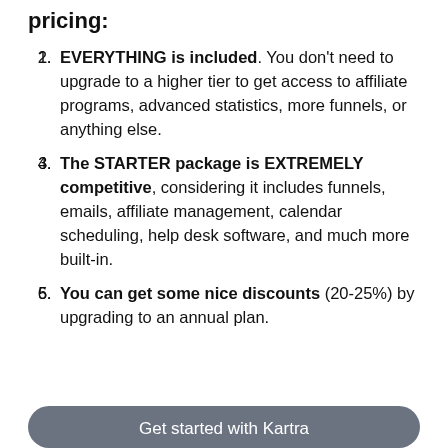pricing:
EVERYTHING is included. You don't need to upgrade to a higher tier to get access to affiliate programs, advanced statistics, more funnels, or anything else.
The STARTER package is EXTREMELY competitive, considering it includes funnels, emails, affiliate management, calendar scheduling, help desk software, and much more built-in.
You can get some nice discounts (20-25%) by upgrading to an annual plan.
Get started with Kartra